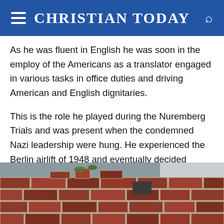CHRISTIAN TODAY
As he was fluent in English he was soon in the employ of the Americans as a translator engaged in various tasks in office duties and driving American and English dignitaries.
This is the role he played during the Nuremberg Trials and was present when the condemned Nazi leadership were hung. He experienced the Berlin airlift of 1948 and eventually decided migration was a good option, finding his way to Australia in 1952.
[Figure (photo): Photograph of an old brick wall, showing weathered red-brown bricks with aged mortar, viewed from a low angle against a grey sky.]